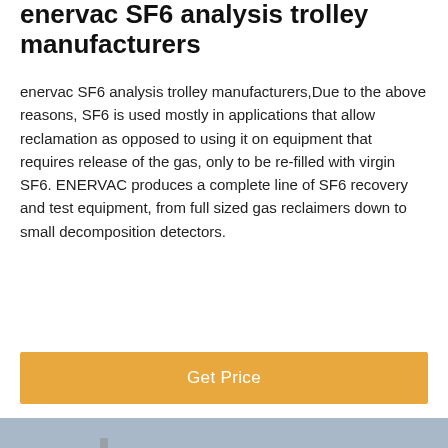enervac SF6 analysis trolley manufacturers
enervac SF6 analysis trolley manufacturers,Due to the above reasons, SF6 is used mostly in applications that allow reclamation as opposed to using it on equipment that requires release of the gas, only to be re-filled with virgin SF6. ENERVAC produces a complete line of SF6 recovery and test equipment, from full sized gas reclaimers down to small decomposition detectors.
[Figure (other): Orange 'Get Price' call-to-action button]
[Figure (photo): Outdoor industrial or infrastructure photo with blurred background showing structures and a building, with a bottom navigation bar showing Leave Message and Chat Online options with a customer service avatar]
Leave Message  Chat Online